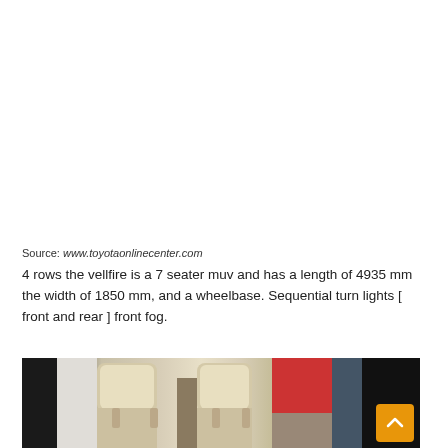Source: www.toyotaonlinecenter.com
4 rows the vellfire is a 7 seater muv and has a length of 4935 mm the width of 1850 mm, and a wheelbase. Sequential turn lights [ front and rear ] front fog.
[Figure (photo): Interior photo of a Toyota Vellfire showing cream/beige captain seats viewed from behind, with windows and red exterior visible outside, and a dark column on the left. An orange scroll-to-top button appears in the bottom right corner.]